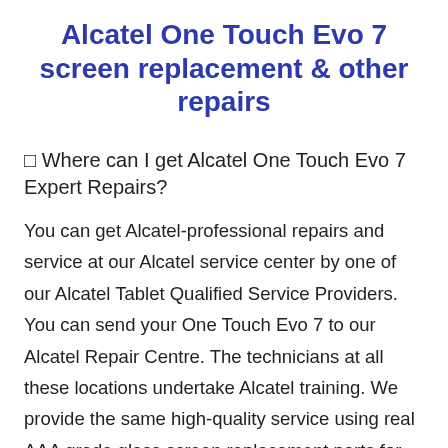Alcatel One Touch Evo 7 screen replacement & other repairs
⊡ Where can I get Alcatel One Touch Evo 7 Expert Repairs?
You can get Alcatel-professional repairs and service at our Alcatel service center by one of our Alcatel Tablet Qualified Service Providers. You can send your One Touch Evo 7 to our Alcatel Repair Centre. The technicians at all these locations undertake Alcatel training. We provide the same high-quality service using real AAA grade glass screen replacement parts for your Alcatel One